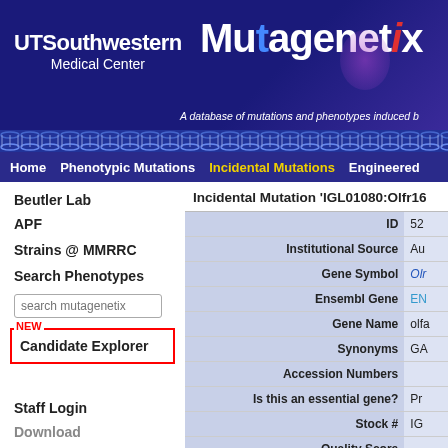[Figure (screenshot): UT Southwestern Medical Center logo and Mutagenetix database header banner with dark blue background]
A database of mutations and phenotypes induced b
Home | Phenotypic Mutations | Incidental Mutations | Engineered
Incidental Mutation 'IGL01080:Olfr16
Beutler Lab
APF
Strains @ MMRRC
Search Phenotypes
search mutagenetix
NEW
Candidate Explorer
Staff Login
Download
| Field | Value |
| --- | --- |
| ID | 52 |
| Institutional Source | Au |
| Gene Symbol | Olfr |
| Ensembl Gene | EN |
| Gene Name | olfa |
| Synonyms | GA |
| Accession Numbers |  |
| Is this an essential gene? | Pr |
| Stock # | IG |
| Quality Score |  |